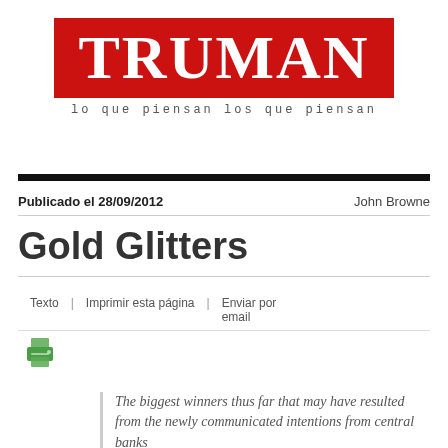[Figure (logo): TRUMAN magazine logo - red background with white bold serif text 'TRUMAN', tagline below: 'lo que piensan los que piensan']
Publicado el 28/09/2012    John Browne
Gold Glitters
Texto | Imprimir esta página | Enviar por email
[Figure (illustration): Printer icon in green/teal color]
The biggest winners thus far that may have resulted from the newly communicated intentions from central banks